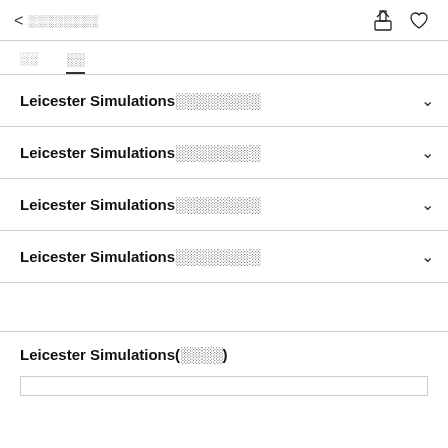< ░░░░░░░░
Leicester Simulations░░░░░░░░
Leicester Simulations░░░░░░░░
Leicester Simulations░░░░░░░░
Leicester Simulations░░░░░░░░
Leicester Simulations(░░░░)